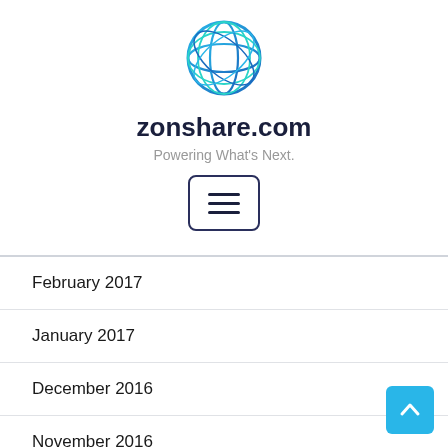[Figure (logo): Zonshare.com globe logo — blue circular lines forming a globe icon]
zonshare.com
Powering What's Next.
[Figure (other): Hamburger menu button with three horizontal lines inside a rounded rectangle border]
February 2017
January 2017
December 2016
November 2016
October 2016
September 2016